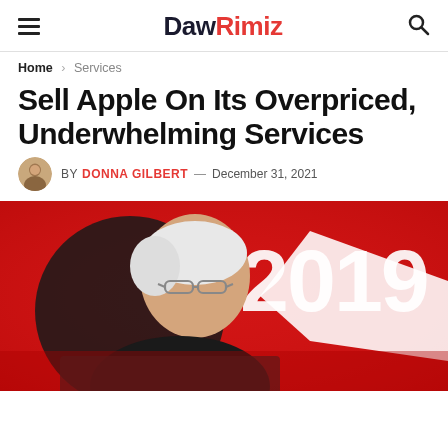DawRimiz
Home > Services
Sell Apple On Its Overpriced, Underwhelming Services
BY DONNA GILBERT — December 31, 2021
[Figure (photo): A person with white hair and glasses speaking at a podium, with a red background featuring the number 2019 in large white text]